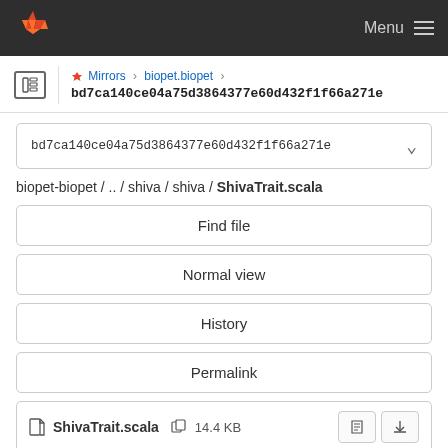GitLab — Menu
Mirrors › biopet.biopet › bd7ca140ce04a75d3864377e60d432f1f66a271e
bd7ca140ce04a75d3864377e60d432f1f66a271e
biopet-biopet / .. / shiva / shiva / ShivaTrait.scala
Find file
Normal view
History
Permalink
ShivaTrait.scala  14.4 KB
Newer  Older